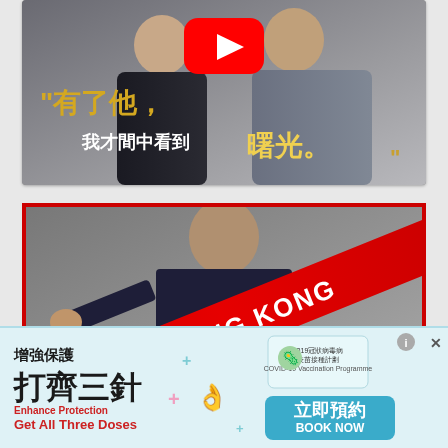[Figure (photo): YouTube video thumbnail showing two people with Chinese text '有了他，我才間中看到 曙光。' meaning 'With him, I can see the dawn'. Shows YouTube play button overlay.]
[Figure (photo): Photo of person holding red 'WE ARE HONG KONG' scarf/banner, framed with red border.]
[Figure (infographic): Advertisement banner for COVID-19 vaccination: 增強保護 打齊三針 (Enhance Protection - Get All Three Doses), with 立即預約 BOOK NOW button.]